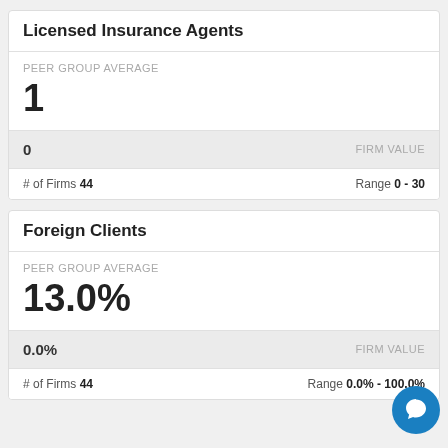Licensed Insurance Agents
PEER GROUP AVERAGE
1
0   FIRM VALUE
# of Firms 44   Range 0 - 30
Foreign Clients
PEER GROUP AVERAGE
13.0%
0.0%   FIRM VALUE
# of Firms 44   Range 0.0% - 100.0%